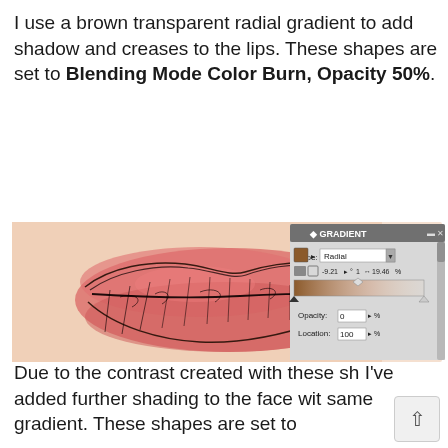I use a brown transparent radial gradient to add shadow and creases to the lips. These shapes are set to Blending Mode Color Burn, Opacity 50%.
[Figure (screenshot): Screenshot showing digital illustration of lips with black sketch lines and pink/red fill, alongside the Gradient panel in a graphics application showing Type: Radial, Opacity: 0%, Location: 100%]
Due to the contrast created with these sh I've added further shading to the face wit same gradient. These shapes are set to